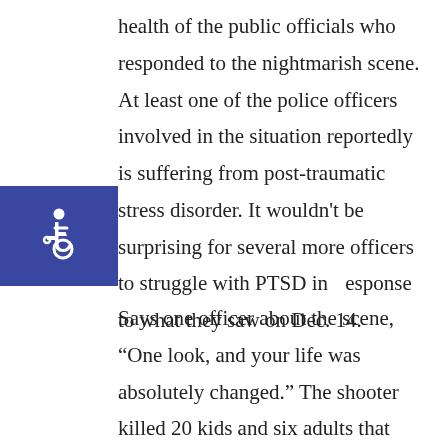health of the public officials who responded to the nightmarish scene. At least one of the police officers involved in the situation reportedly is suffering from post-traumatic stress disorder. It wouldn't be surprising for several more officers to struggle with PTSD in response to what they saw on Dec. 14.
[Figure (illustration): Wheelchair accessibility icon — white figure in wheelchair on blue square background]
Says one officer about the scene, “One look, and your life was absolutely changed.” The shooter killed 20 kids and six adults that day, before he killed himself. The impact of the shooter’s actions didn’t end when his life did. There were the responders who were left to